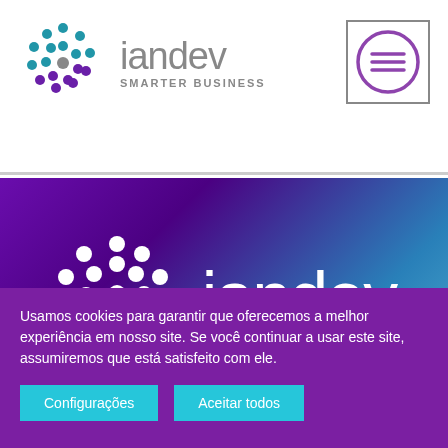[Figure (logo): iandev logo with dot-network icon and text 'iandev SMARTER BUSINESS' in header]
[Figure (logo): Hamburger menu icon - three horizontal lines inside a circle with a border]
[Figure (logo): Large iandev logo with white dot-network icon and text 'iandev SMARTER BUSINESS' on gradient purple-to-blue background]
Usamos cookies para garantir que oferecemos a melhor experiência em nosso site. Se você continuar a usar este site, assumiremos que está satisfeito com ele.
Configurações
Aceitar todos